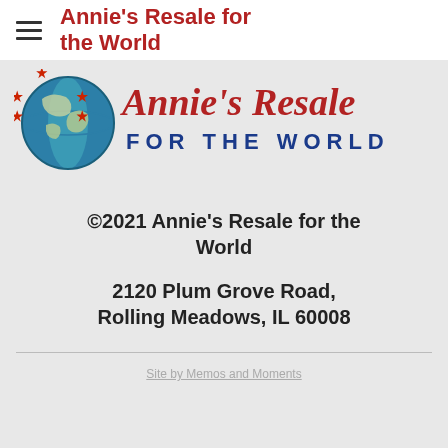Annie's Resale for the World
[Figure (logo): Annie's Resale for the World logo — globe with red stars, teal/blue coloring, red script 'Annie's Resale' and blue 'FOR THE WORLD' text]
©2021 Annie's Resale for the World
2120 Plum Grove Road, Rolling Meadows, IL 60008
Site by Memos and Moments